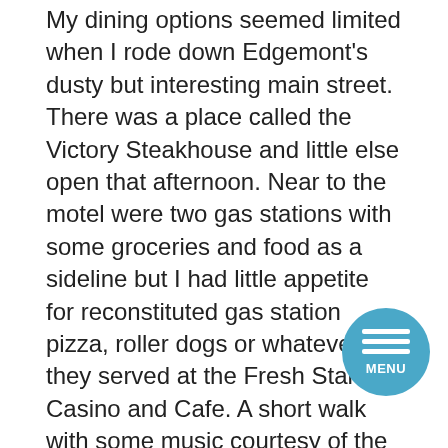My dining options seemed limited when I rode down Edgemont's dusty but interesting main street. There was a place called the Victory Steakhouse and little else open that afternoon. Near to the motel were two gas stations with some groceries and food as a sideline but I had little appetite for reconstituted gas station pizza, roller dogs or whatever they served at the Fresh Start Casino and Cafe. A short walk with some music courtesy of the Fall River County Fair took me back to 2nd Avenue, the Victory Steakhouse & Lounge and my best meal of the trip; Thick juicy steak, salad bar and fries. All a calorie burning old guy could want with a lot of friendly folks to make the experience complete.
One last interesting fact about Edgemont: If you are looking for a place to wait out Armageddon or the zombie apocalypse, you may want to plan a visit. Just south of town sits an 18 square mile compound